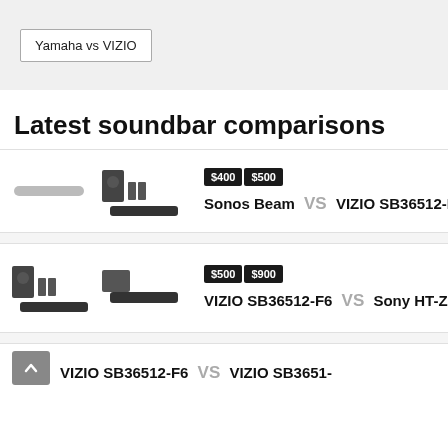Yamaha vs VIZIO
Latest soundbar comparisons
$400  $500  Sonos Beam VS VIZIO SB36512-F6
$500  $900  VIZIO SB36512-F6 VS Sony HT-Z9F
VIZIO SB36512-F6 VS VIZIO SB3651-